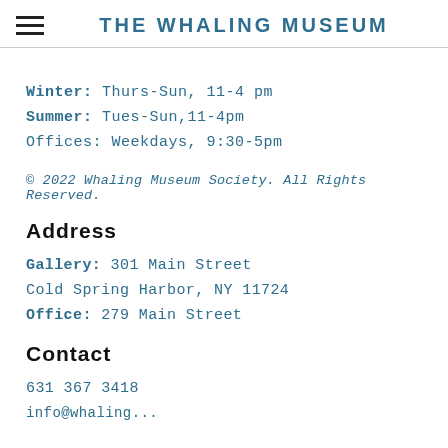THE WHALING MUSEUM
Winter: Thurs-Sun, 11-4 pm
Summer: Tues-Sun,11-4pm
Offices: Weekdays, 9:30-5pm
© 2022 Whaling Museum Society. All Rights Reserved.
Address
Gallery: 301 Main Street
Cold Spring Harbor, NY 11724
Office: 279 Main Street
Contact
631 367 3418
info@whalingmuseum...